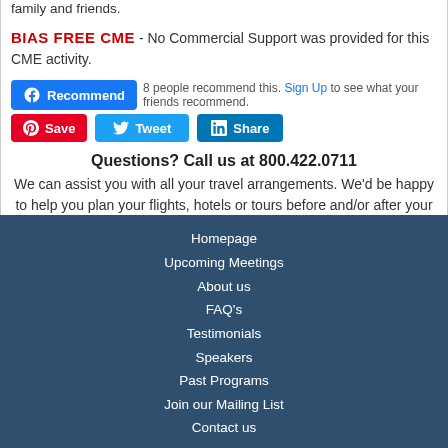family and friends.
BIAS FREE CME - No Commercial Support was provided for this CME activity.
8 people recommend this. Sign Up to see what your friends recommend.
Questions? Call us at 800.422.0711
We can assist you with all your travel arrangements. We'd be happy to help you plan your flights, hotels or tours before and/or after your cruise conference.
Homepage
Upcoming Meetings
About us
FAQ's
Testimonials
Speakers
Past Programs
Join our Mailing List
Contact us